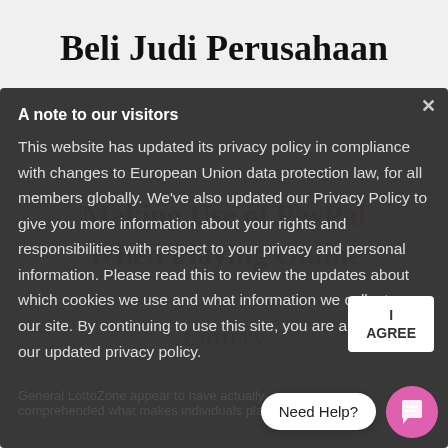Beli Judi Perusahaan
[Figure (screenshot): Website privacy policy modal overlay on a webpage. The modal has a dark grey background with white text reading 'A note to our visitors' as the header and a paragraph about updated privacy policy. An 'I AGREE' button appears at the right side. Behind the modal, faded text shows 'Making Use of PayPal When Playing Online Lottery' as a heading. At the bottom right, a 'Need Help?' chat bubble and a pink chat button are visible. At the very bottom, partial text reads 'General LottoZone appear to have actually comprehended what makes individuals play'.]